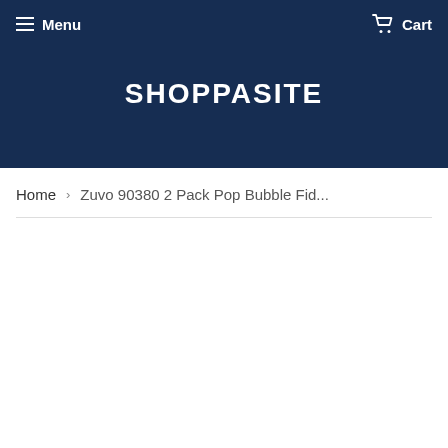Menu  Cart
SHOPPASITE
Home › Zuvo 90380 2 Pack Pop Bubble Fid...